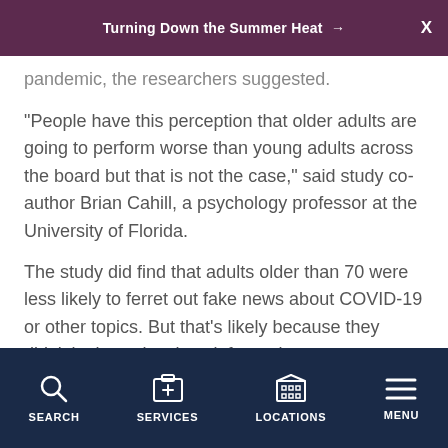Turning Down the Summer Heat →
pandemic, the researchers suggested.
"People have this perception that older adults are going to perform worse than young adults across the board but that is not the case," said study co-author Brian Cahill, a psychology professor at the University of Florida.
The study did find that adults older than 70 were less likely to ferret out fake news about COVID-19 or other topics. But that's likely because they didn't look as closely at information or pay attention to details, the study authors added.
SEARCH | SERVICES | LOCATIONS | MENU